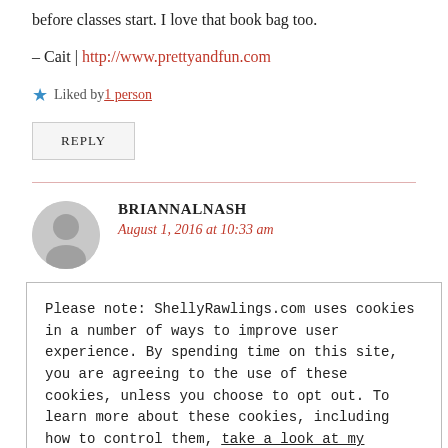before classes start. I love that book bag too.
– Cait | http://www.prettyandfun.com
Liked by 1 person
REPLY
BRIANNALNASH
August 1, 2016 at 10:33 am
Please note: ShellyRawlings.com uses cookies in a number of ways to improve user experience. By spending time on this site, you are agreeing to the use of these cookies, unless you choose to opt out. To learn more about these cookies, including how to control them, take a look at my privacy policy.
Sounds good!
Liked by 1 person